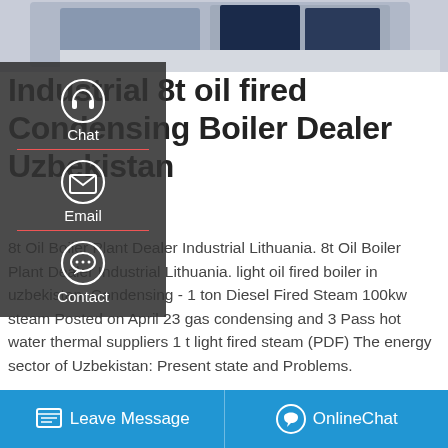[Figure (photo): Top portion of industrial boiler equipment, showing dark blue and grey machinery on a light grey floor background.]
Industrial 8t oil fired Condensing Boiler Dealer Uzbekistan
8t Oil Boiler Plant Dealer Industrial Lithuania. 8t Oil Boiler Plant Dealer Industrial Lithuania. light oil fired boiler in uzbekistan. Condensing - 1 ton Diesel Fired Steam 100kw steam Posted on April 23 gas condensing and 3 Pass hot water thermal suppliers 1 t light fired steam (PDF) The energy sector of Uzbekistan: Present state and Problems.
[Figure (screenshot): Side navigation panel with dark background showing Chat, Email, and Contact options with icons.]
[Figure (screenshot): Get a Quote button in yellow/gold color.]
[Figure (screenshot): Save Stickers on WhatsApp bar with purple-to-pink gradient and WhatsApp icons.]
[Figure (screenshot): Bottom navigation bar in blue with Leave Message and OnlineChat options.]